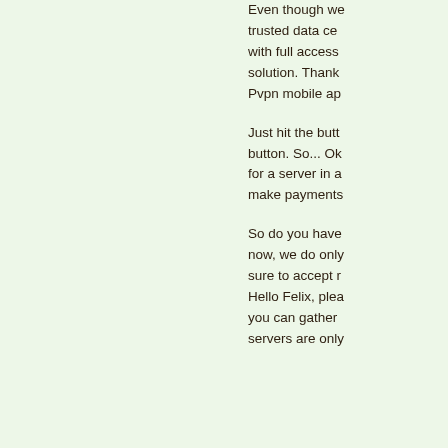Even though we trusted data ce with full access solution. Thank Pvpn mobile ap
Just hit the butt button. So... Ok for a server in a make payments
So do you have now, we do only sure to accept r Hello Felix, plea you can gather servers are only